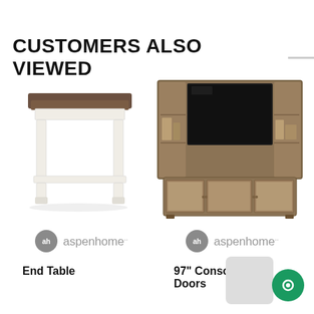CUSTOMERS ALSO VIEWED
[Figure (photo): End table with dark brown top and white distressed base, two shelves]
[Figure (photo): 97 inch entertainment console with hutch, glass doors, shelving units, and large TV opening, rustic brown finish]
[Figure (logo): aspenhome logo - left product]
[Figure (logo): aspenhome logo - right product]
End Table
97" Console w/ 4 Doors